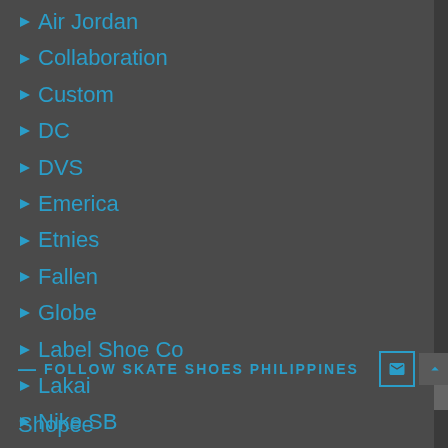Air Jordan
Collaboration
Custom
DC
DVS
Emerica
Etnies
Fallen
Globe
Label Shoe Co
Lakai
Nike SB
Osiris
Supra
Vans
FOLLOW SKATE SHOES PHILIPPINES
Shopee